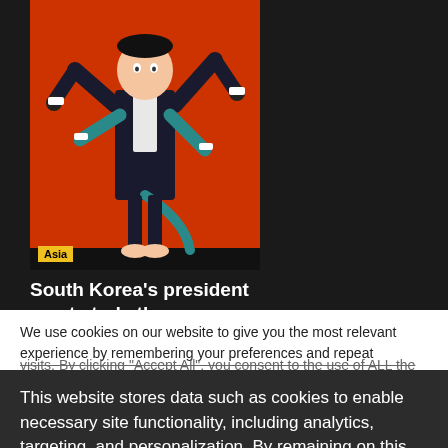[Figure (illustration): Illustration of a figure in a suit with multiple arms holding objects, on an orange/red background, with a tail, barefoot. Yellow 'Asia' badge in bottom-left corner.]
South Korea's president must study the fundamentals
We use cookies on our website to give you the most relevant experience by remembering your preferences and repeat visits. By clicking "Accept All", you consent to the use of ALL the cookies. However, you may visit "Cookie Settings" to provide a controlled consent.
This website stores data such as cookies to enable necessary site functionality, including analytics, targeting, and personalization. By remaining on this website you indicate your consent Cookie Policy